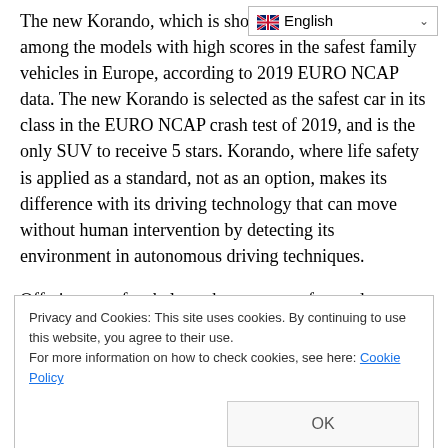[Figure (screenshot): Language selector dropdown showing English with UK flag and dropdown arrow]
The new Korando, which is shown a[s the "King of the] throne", is among the models with high scores in the safest family vehicles in Europe, according to 2019 EURO NCAP data. The new Korando is selected as the safest car in its class in the EURO NCAP crash test of 2019, and is the only SUV to receive 5 stars. Korando, where life safety is applied as a standard, not as an option, makes its difference with its driving technology that can move without human intervention by detecting its environment in autonomous driving techniques.
Offering a perfect balance between comfort and efficiency, Korando brings driver safety to the top with its innovative safety systems. Korando, which has the most advanced
Privacy and Cookies: This site uses cookies. By continuing to use this website, you agree to their use.
For more information on how to check cookies, see here: Cookie Policy
OK
Intelligent technology synchronized with mobile phone